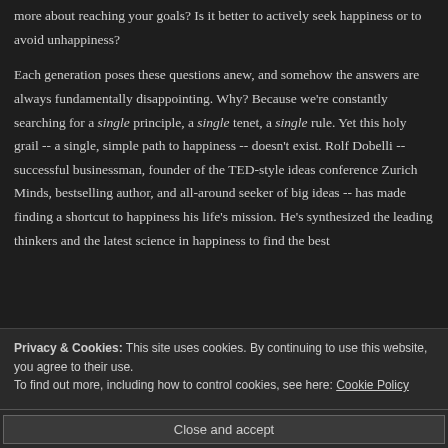more about reaching your goals? Is it better to actively seek happiness or to avoid unhappiness?

Each generation poses these questions anew, and somehow the answers are always fundamentally disappointing. Why? Because we're constantly searching for a single principle, a single tenet, a single rule. Yet this holy grail -- a single, simple path to happiness -- doesn't exist. Rolf Dobelli -- successful businessman, founder of the TED-style ideas conference Zurich Minds, bestselling author, and all-around seeker of big ideas -- has made finding a shortcut to happiness his life's mission. He's synthesized the leading thinkers and the latest science in happiness to find the best
Privacy & Cookies: This site uses cookies. By continuing to use this website, you agree to their use.
To find out more, including how to control cookies, see here: Cookie Policy
Close and accept